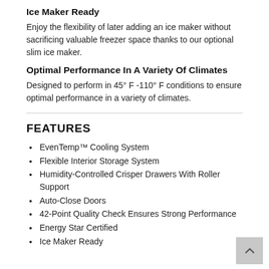Ice Maker Ready
Enjoy the flexibility of later adding an ice maker without sacrificing valuable freezer space thanks to our optional slim ice maker.
Optimal Performance In A Variety Of Climates
Designed to perform in 45° F -110° F conditions to ensure optimal performance in a variety of climates.
FEATURES
EvenTemp™ Cooling System
Flexible Interior Storage System
Humidity-Controlled Crisper Drawers With Roller Support
Auto-Close Doors
42-Point Quality Check Ensures Strong Performance
Energy Star Certified
Ice Maker Ready